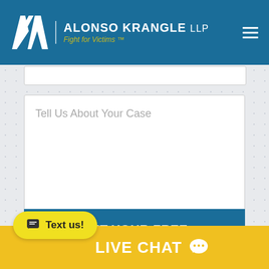[Figure (screenshot): Alonso Krangle LLP law firm website header with logo, tagline 'Fight for Victims™', and hamburger menu on dark blue background]
Tell Us About Your Case
GET YOUR FREE CONSULTATION
Text us!
LIVE CHAT